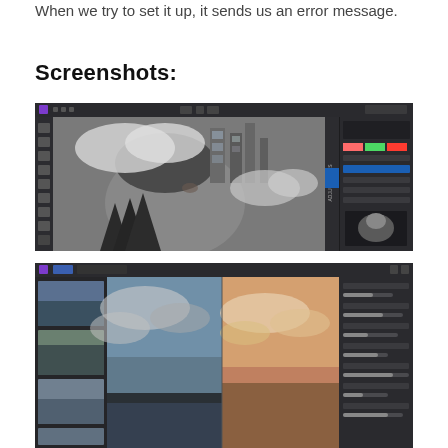When we try to set it up, it sends us an error message.
Screenshots:
[Figure (screenshot): Screenshot of a photo editing application (Affinity Photo or similar) showing a double-exposure artistic image of a person's face merged with a cityscape, clouds, and pine trees. Dark UI with toolbars on left and right panel visible.]
[Figure (screenshot): Screenshot of a photo editing application showing a split-view or comparison panel with landscape/cloudy sky images. Dark UI with filmstrip on the left and settings panel on the right.]